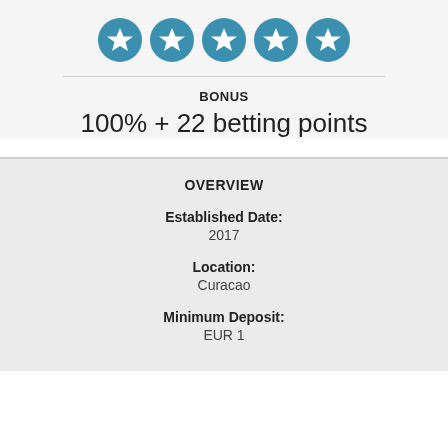[Figure (illustration): Five teal circular star rating icons in a row]
BONUS
100% + 22 betting points
OVERVIEW
Established Date: 2017
Location: Curacao
Minimum Deposit: EUR 1